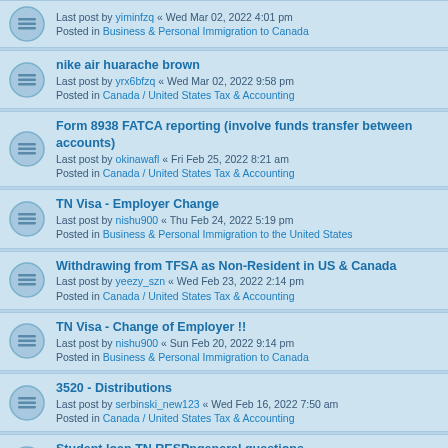Last post by yiminfzq « Wed Mar 02, 2022 4:01 pm
Posted in Business & Personal Immigration to Canada
nike air huarache brown
Last post by yrx6bfzq « Wed Mar 02, 2022 9:58 pm
Posted in Canada / United States Tax & Accounting
Form 8938 FATCA reporting (involve funds transfer between accounts)
Last post by okinawafl « Fri Feb 25, 2022 8:21 am
Posted in Canada / United States Tax & Accounting
TN Visa - Employer Change
Last post by nishu900 « Thu Feb 24, 2022 5:19 pm
Posted in Business & Personal Immigration to the United States
Withdrawing from TFSA as Non-Resident in US & Canada
Last post by yeezy_szn « Wed Feb 23, 2022 2:14 pm
Posted in Canada / United States Tax & Accounting
TN Visa - Change of Employer !!
Last post by nishu900 « Sun Feb 20, 2022 9:14 pm
Posted in Business & Personal Immigration to Canada
3520 - Distributions
Last post by serbinski_new123 « Wed Feb 16, 2022 7:50 am
Posted in Canada / United States Tax & Accounting
Student loan TN RESPngeneral questions
Last post by northmount183 « Tue Feb 15, 2022 3:45 pm
Posted in Canada / United States Tax & Accounting
3520A - Authorization of Agent - Authorizing myself as US Agent?